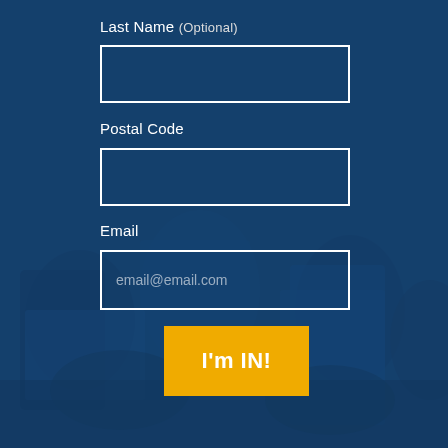Last Name (Optional)
[Figure (screenshot): Form input box for Last Name field, empty, white border on blue overlay background]
Postal Code
[Figure (screenshot): Form input box for Postal Code field, empty, white border on blue overlay background]
Email
[Figure (screenshot): Form input box for Email field with placeholder text email@email.com, white border on blue overlay background]
[Figure (illustration): Yellow button with white bold text reading I'm IN!]